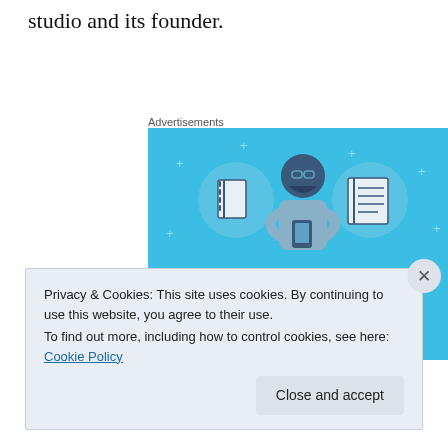studio and its founder.
Advertisements
[Figure (illustration): Day One journaling app advertisement on a blue background with icons of a notebook and a list, a central character holding a phone, text reading DAY ONE and The only journaling app you'll ever need.]
Privacy & Cookies: This site uses cookies. By continuing to use this website, you agree to their use. To find out more, including how to control cookies, see here: Cookie Policy